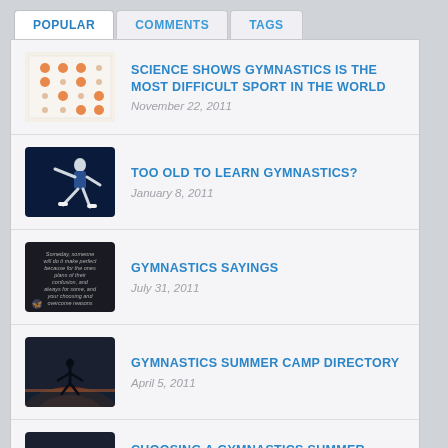POPULAR | COMMENTS | TAGS
SCIENCE SHOWS GYMNASTICS IS THE MOST DIFFICULT SPORT IN THE WORLD
November 22, 2011
TOO OLD TO LEARN GYMNASTICS?
January 8, 2011
GYMNASTICS SAYINGS
July 31, 2011
GYMNASTICS SUMMER CAMP DIRECTORY
April 5, 2011
CHOOSING A GYMNASTICS SUMMER CAMP
March 29, 2011